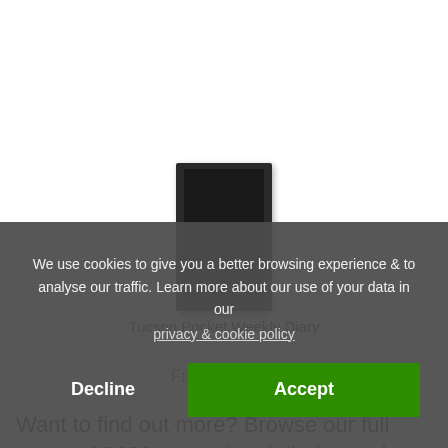[Figure (photo): Product photo of a dark navy/black Tucson Pocket Weekly Diary, shown upright against white background]
Tucson Pocket Weekly Diary
From  £4.05
Want to find out more? Browse our full range of 2020 promotional diaries and contact us today for your
We use cookies to give you a better browsing experience & to analyse our traffic. Learn more about our use of your data in our privacy & cookie policy
Decline
Accept